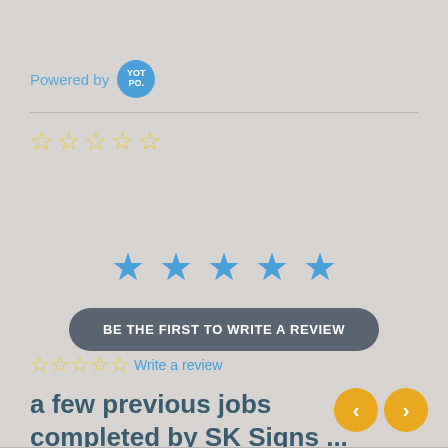[Figure (logo): Powered by YOTPO logo badge - blue circle with YOT PO. text in white]
[Figure (infographic): Five yellow outlined (empty) stars rating display]
[Figure (infographic): Five solid blue stars in center]
BE THE FIRST TO WRITE A REVIEW
Write a review
a few previous jobs completed by SK Signs ...